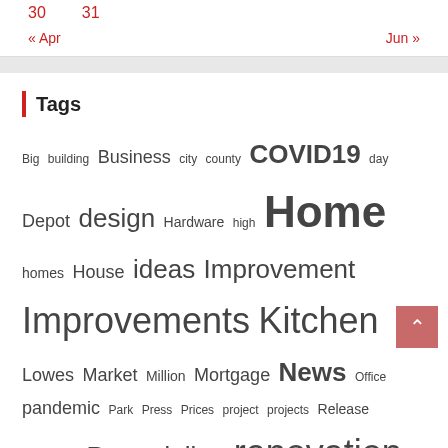30   31
« Apr   Jun »
Tags
Big building Business city county COVID19 day Depot design Hardware high Home homes House ideas Improvement Improvements Kitchen Lowes Market Million Mortgage News Office pandemic Park Press Prices project projects Release Remodel Remodeling renovation Repair Sales smart stores Time Tips Top Ways week Work working
About Us
Advertise Here